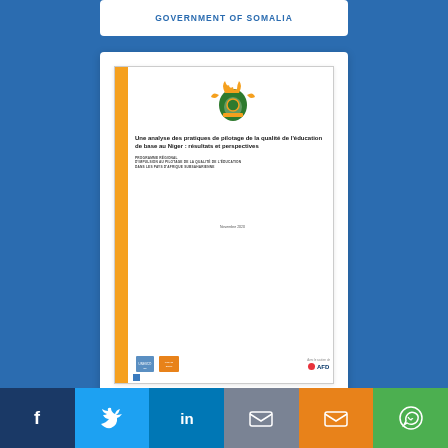[Figure (screenshot): Screenshot of a document cover page for a UNESCO/AFD report titled 'Une analyse des pratiques de pilotage de la qualité de l'éducation de base au Niger : résultats et perspectives', with Niger coat of arms, orange sidebar, and logos at bottom. Displayed inside a white card on a blue background.]
Une analyse des pratiques de pilotage de la qualité de
f  Twitter  in  [mail]  [mail]  [whatsapp]